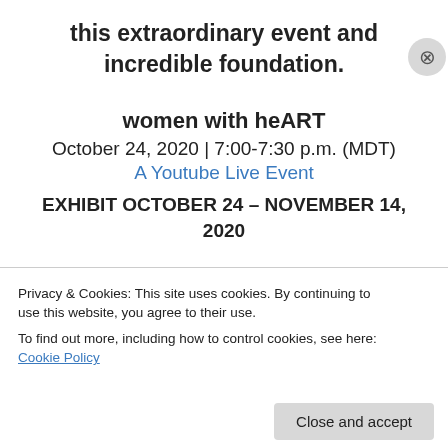this extraordinary event and incredible foundation.
women with heART
October 24, 2020 | 7:00-7:30 p.m. (MDT)
A Youtube Live Event
EXHIBIT OCTOBER 24 – NOVEMBER 14, 2020
Celebrate Pilar's birthday and join us on
YouTube Live for a virtual event that
Privacy & Cookies: This site uses cookies. By continuing to use this website, you agree to their use. To find out more, including how to control cookies, see here: Cookie Policy
Close and accept